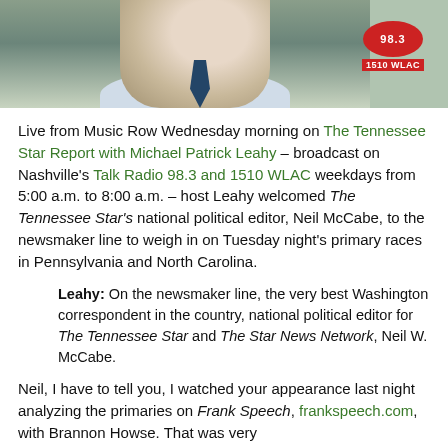[Figure (photo): Photo of a man in a suit and tie with a red radio station logo (1510 WLAC) in the top right corner]
Live from Music Row Wednesday morning on The Tennessee Star Report with Michael Patrick Leahy – broadcast on Nashville's Talk Radio 98.3 and 1510 WLAC weekdays from 5:00 a.m. to 8:00 a.m. – host Leahy welcomed The Tennessee Star's national political editor, Neil McCabe, to the newsmaker line to weigh in on Tuesday night's primary races in Pennsylvania and North Carolina.
Leahy: On the newsmaker line, the very best Washington correspondent in the country, national political editor for The Tennessee Star and The Star News Network, Neil W. McCabe.
Neil, I have to tell you, I watched your appearance last night analyzing the primaries on Frank Speech, frankspeech.com, with Brannon Howse. That was very